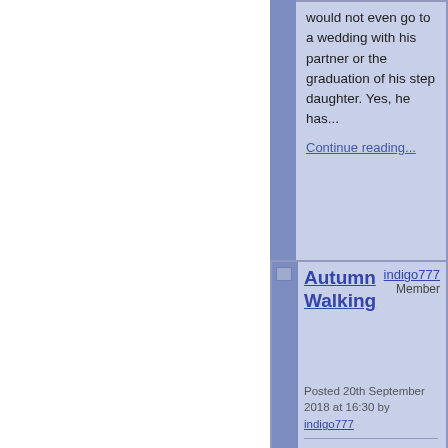would not even go to a wedding with his partner or the graduation of his step daughter. Yes, he has...
Continue reading...
Posted in Uncategorized  Views 8690 Comments 1
Autumn Walking
indigo777
Member
Posted 20th September 2018 at 16:30 by indigo777
I quite enjoyed my walk yesterday. It may be due to autumn and lower